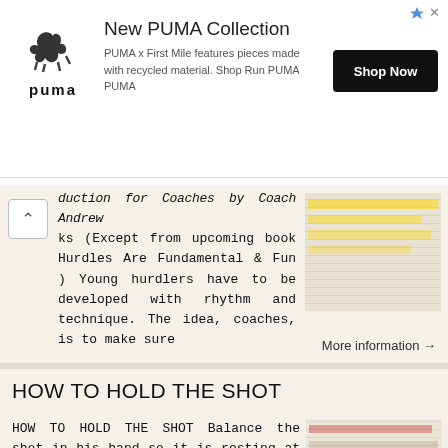[Figure (screenshot): PUMA advertisement banner with logo, 'New PUMA Collection' text, description, and Shop Now button]
duction for Coaches by Coach Andrew ks (Except from upcoming book Hurdles Are Fundamental & Fun ) Young hurdlers have to be developed with rhythm and technique. The idea, coaches, is to make sure
More information →
HOW TO HOLD THE SHOT
HOW TO HOLD THE SHOT Balance the shot in his hand so it is resting at the point where the fingers are connected to the palm of the hand. Keep their fingers together and allow their thumb to gently rest
More information →